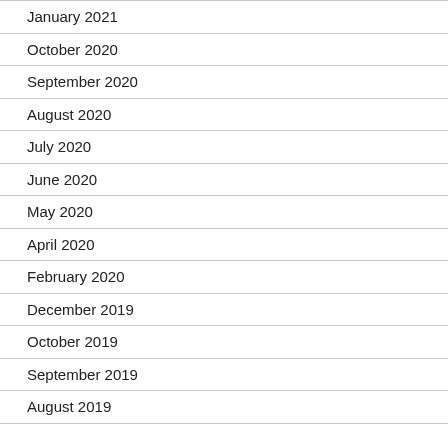January 2021
October 2020
September 2020
August 2020
July 2020
June 2020
May 2020
April 2020
February 2020
December 2019
October 2019
September 2019
August 2019